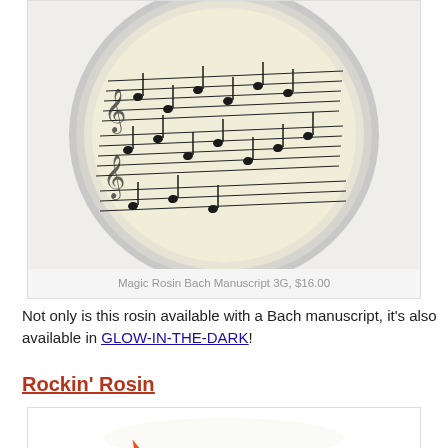[Figure (photo): A round silver rosin container with Bach manuscript music notation printed inside, displayed on a light gray background.]
Magic Rosin Bach Manuscript 3G, $16.00
Not only is this rosin available with a Bach manuscript, it's also available in GLOW-IN-THE-DARK!
Rockin' Rosin
[Figure (photo): A jar of Rockin' Rosin product with colorful decorative elements including what appears to be knitting or craft materials in blue and green, and an orange needle or pick.]